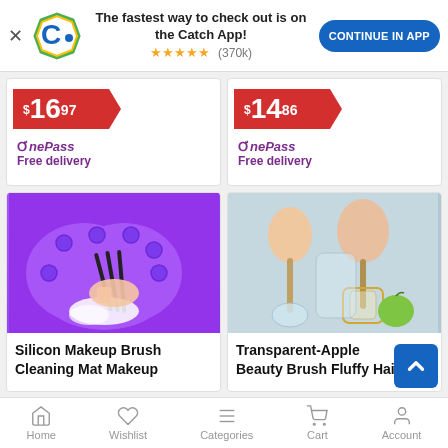[Figure (screenshot): Catch app promotional banner with Catch logo, text 'The fastest way to check out is on the Catch App!', star rating (370k reviews), and 'CONTINUE IN APP' button]
[Figure (screenshot): Product price tag showing $16.97 in red with OnePass Free delivery label]
[Figure (screenshot): Product price tag showing $14.86 in red with OnePass Free delivery label]
[Figure (photo): Purple silicone makeup brush cleaning mat with suction cups, hand cleaning brushes on it]
Silicon Makeup Brush Cleaning Mat Makeup
[Figure (photo): Transparent apple-shaped beauty brush holders with fluffy powder brushes and green apple]
Transparent-Apple Beauty Brush Fluffy Hair
Home  Wishlist  Categories  Cart  Account